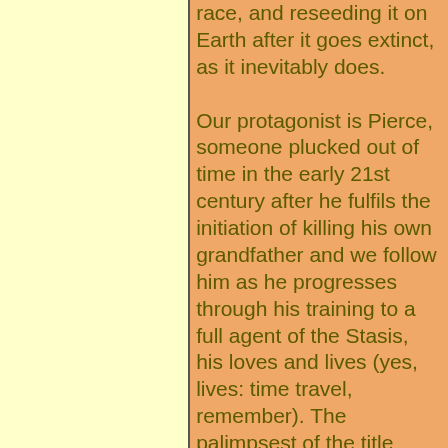race, and reseeding it on Earth after it goes extinct, as it inevitably does.

Our protagonist is Pierce, someone plucked out of time in the early 21st century after he fulfils the initiation of killing his own grandfather and we follow him as he progresses through his training to a full agent of the Stasis, his loves and lives (yes, lives: time travel, remember). The palimpsest of the title refers to time being overwritten and the creation of unhistories as it is done, something that becomes important